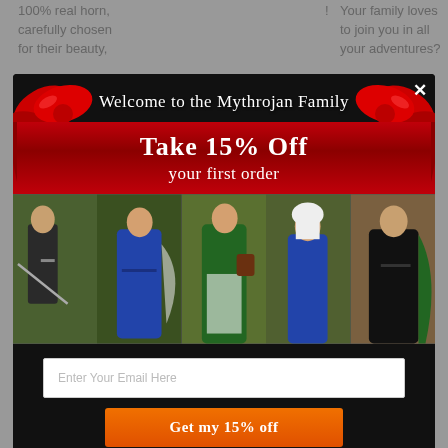100% real horn, carefully chosen for their beauty,
!
Your family loves to join you in all your adventures?
Each one of our horn bowl is
[Figure (screenshot): Modal popup overlay for Mythrojan website showing welcome message, 15% discount offer, medieval costume photos, email input field, and CTA button]
BOWL !